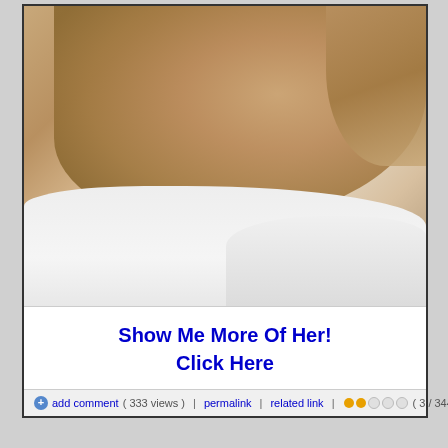[Figure (photo): A person lying face-down on white bedsheets, back visible, photographed from above in a dimly lit bedroom setting.]
Show Me More Of Her!
Click Here
add comment ( 333 views )  |  permalink  |  related link  |  ●●○○○ ( 3 / 344 )